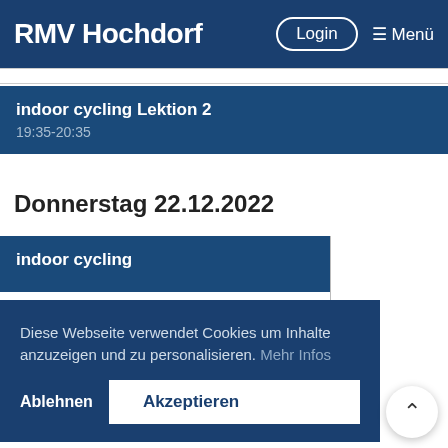RMV Hochdorf | Login | Menü
indoor cycling Lektion 2
19:35-20:35
Donnerstag 22.12.2022
indoor cycling
Diese Webseite verwendet Cookies um Inhalte anzuzeigen und zu personalisieren. Mehr Infos
Ablehnen | Akzeptieren